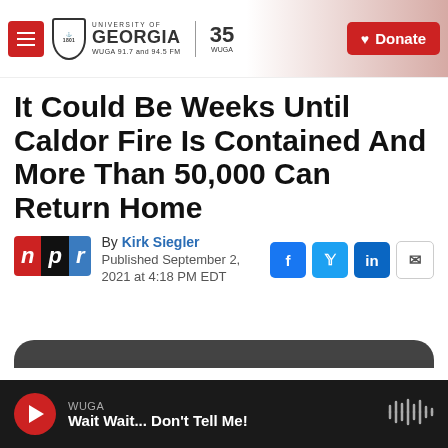University of Georgia WUGA 91.7 and 94.5 FM | 35 WUGA | Donate
It Could Be Weeks Until Caldor Fire Is Contained And More Than 50,000 Can Return Home
By Kirk Siegler
Published September 2, 2021 at 4:18 PM EDT
WUGA — Wait Wait... Don't Tell Me!